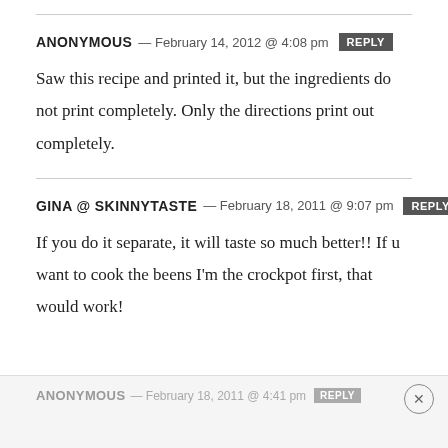ANONYMOUS — February 14, 2012 @ 4:08 pm  REPLY
Saw this recipe and printed it, but the ingredients do not print completely. Only the directions print out completely.
GINA @ SKINNYTASTE — February 18, 2011 @ 9:07 pm  REPLY
If you do it separate, it will taste so much better!! If u want to cook the beens I'm the crockpot first, that would work!
ANONYMOUS — February 18, 2011 @ 4:41 pm  REPLY